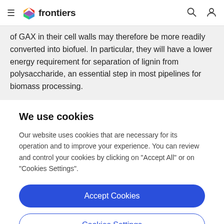frontiers
of GAX in their cell walls may therefore be more readily converted into biofuel. In particular, they will have a lower energy requirement for separation of lignin from polysaccharide, an essential step in most pipelines for biomass processing.
We use cookies
Our website uses cookies that are necessary for its operation and to improve your experience. You can review and control your cookies by clicking on "Accept All" or on "Cookies Settings".
Accept Cookies
Cookies Settings